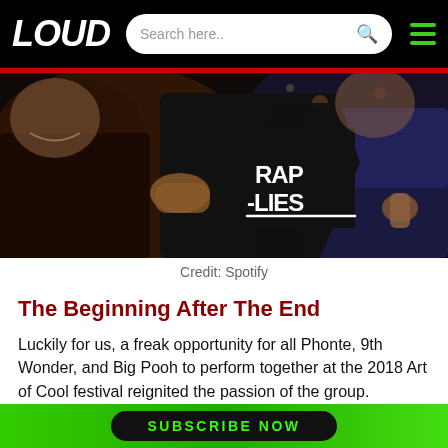LOUD
[Figure (photo): Two men at a night event; one wearing a black hoodie revealing a black shirt with 'RAP -LIES' written on it, giving thumbs up. The other man is gesturing with his hand. Dark background with bokeh lights.]
Credit: Spotify
The Beginning After The End
Luckily for us, a freak opportunity for all Phonte, 9th Wonder, and Big Pooh to perform together at the 2018 Art of Cool festival reignited the passion of the group. Although 9th Wonder
SUBSCRIBE NOW